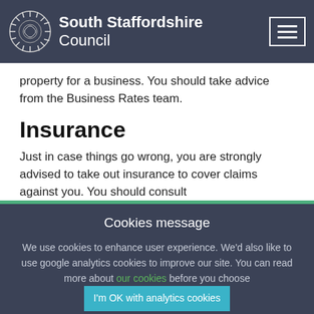South Staffordshire Council
property for a business. You should take advice from the Business Rates team.
Insurance
Just in case things go wrong, you are strongly advised to take out insurance to cover claims against you. You should consult
Cookies message
We use cookies to enhance user experience. We'd also like to use google analytics cookies to improve our site. You can read more about our cookies before you choose I'm OK with analytics cookies Do not use analytics cookies